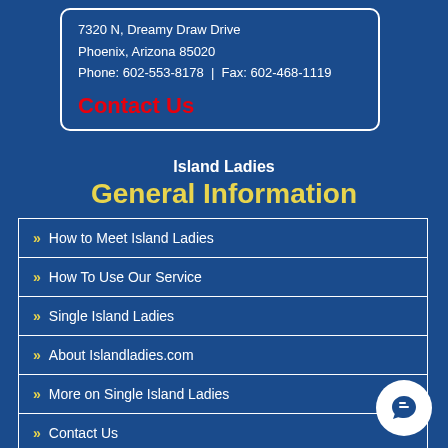7320 N, Dreamy Draw Drive
Phoenix, Arizona 85020
Phone: 602-553-8178 | Fax: 602-468-1119
Contact Us
Island Ladies
General Information
» How to Meet Island Ladies
» How To Use Our Service
» Single Island Ladies
» About Islandladies.com
» More on Single Island Ladies
» Contact Us